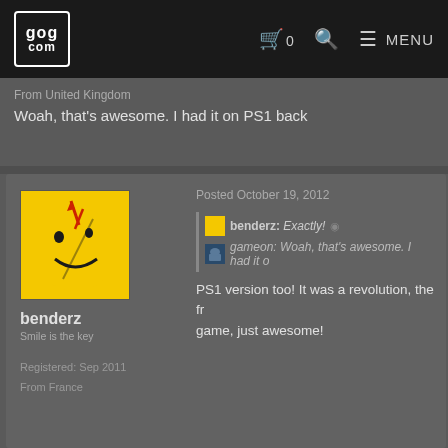GOG.COM — Navigation bar with cart (0), search, and menu
From United Kingdom
Woah, that's awesome. I had it on PS1 back
benderz — Smile is the key
Registered: Sep 2011
From France
Posted October 19, 2012
benderz: Exactly!
gameon: Woah, that's awesome. I had it o...
PS1 version too! It was a revolution, the fr... game, just awesome!
TEgotisticalTwat
Registered: May 2011
From United Kingdom
Posted October 19, 2012
gameon: Woah, that's awesome. I had it...
benderz: PS1 version too! It was a revolu... game, just awesome!
I have a ps2 controller adaptor for my pc. D